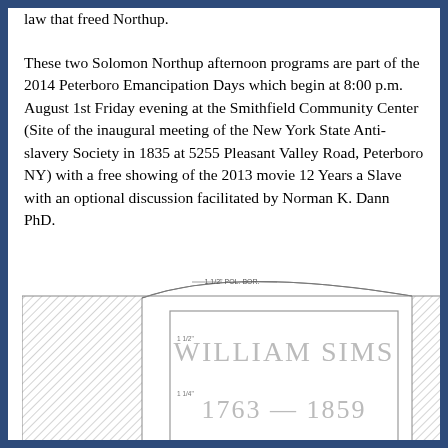law that freed Northup.
These two Solomon Northup afternoon programs are part of the 2014 Peterboro Emancipation Days which begin at 8:00 p.m. August 1st Friday evening at the Smithfield Community Center (Site of the inaugural meeting of the New York State Anti-slavery Society in 1835 at 5255 Pleasant Valley Road, Peterboro NY) with a free showing of the 2013 movie 12 Years a Slave with an optional discussion facilitated by Norman K. Dann PhD.
[Figure (engineering-diagram): Architectural/engineering diagram of a gravestone for William Sims, 1763-1859, showing a headstone shape with hatched border, labeled with dimensions including '1 1/2 POL. BOR.' at the top arch and '1 1/2"' and '1 1/4"' for text sizes.]